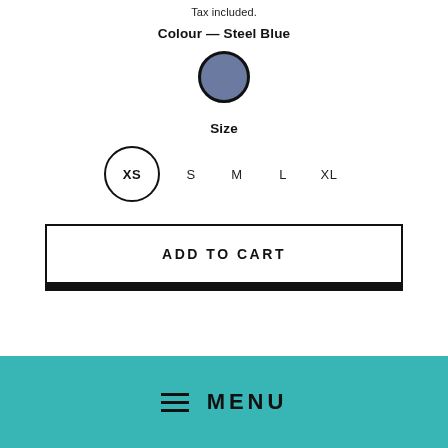Tax included.
Colour — Steel Blue
[Figure (illustration): A circular colour swatch filled with steel blue (#6b7aa1) with a thick dark border, representing the selected colour option.]
Size
[Figure (illustration): Size selector showing XS in a circle (selected/outlined), followed by S, M, L, XL as plain text options.]
[Figure (illustration): ADD TO CART button: white rectangle with dark border and a dark shadow offset behind it. Bold spaced uppercase text reads ADD TO CART.]
[Figure (illustration): Teal/turquoise menu bar at the bottom with a hamburger icon (three horizontal lines) and the word MENU in bold uppercase.]